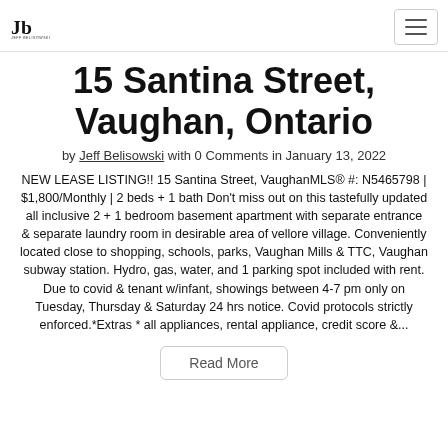Jeff Belisowski logo and navigation
15 Santina Street, Vaughan, Ontario
by Jeff Belisowski with 0 Comments in January 13, 2022
NEW LEASE LISTING!! 15 Santina Street, VaughanMLS® #: N5465798 | $1,800/Monthly | 2 beds + 1 bath Don't miss out on this tastefully updated all inclusive 2 + 1 bedroom basement apartment with separate entrance & separate laundry room in desirable area of vellore village. Conveniently located close to shopping, schools, parks, Vaughan Mills & TTC, Vaughan subway station. Hydro, gas, water, and 1 parking spot included with rent. Due to covid & tenant w/infant, showings between 4-7 pm only on Tuesday, Thursday & Saturday 24 hrs notice. Covid protocols strictly enforced.*Extras * all appliances, rental appliance, credit score &...
Read More